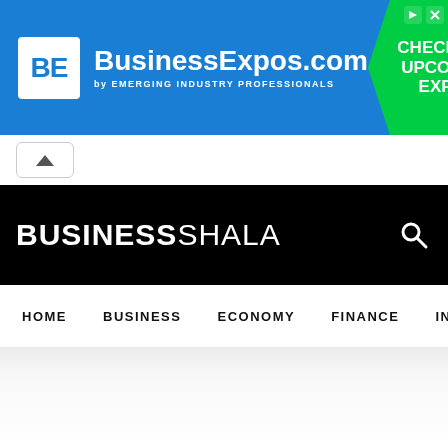[Figure (screenshot): BusinessExpos.com advertisement banner with blue background, BE logo in white box, site name in white, and green arrow-shaped callout with CHECK FOR UPCOMING EXPOS text]
[Figure (screenshot): Collapse/minimize button with upward caret arrow]
BUSINESSSHALA
HOME   BUSINESS   ECONOMY   FINANCE   INV